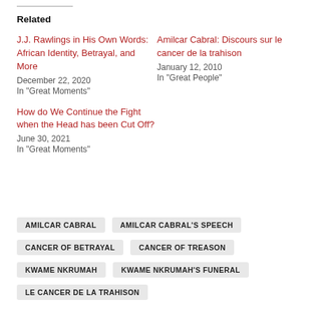Related
J.J. Rawlings in His Own Words: African Identity, Betrayal, and More
December 22, 2020
In "Great Moments"
Amilcar Cabral: Discours sur le cancer de la trahison
January 12, 2010
In "Great People"
How do We Continue the Fight when the Head has been Cut Off?
June 30, 2021
In "Great Moments"
AMILCAR CABRAL
AMILCAR CABRAL'S SPEECH
CANCER OF BETRAYAL
CANCER OF TREASON
KWAME NKRUMAH
KWAME NKRUMAH'S FUNERAL
LE CANCER DE LA TRAHISON